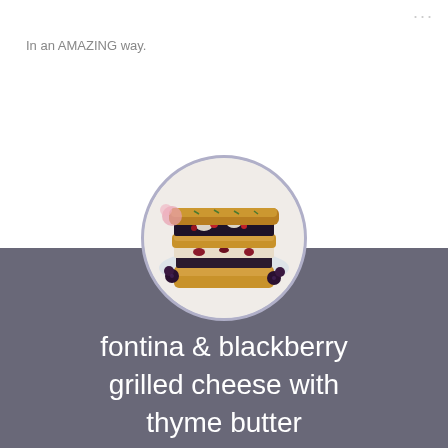In an AMAZING way.
[Figure (photo): Circular cropped photo of stacked fontina and blackberry grilled cheese sandwiches on a light background]
fontina & blackberry grilled cheese with thyme butter